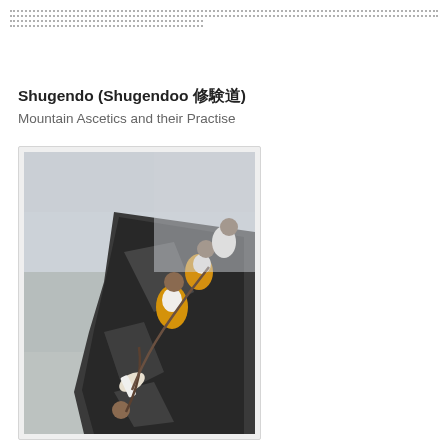...dotted lines header...
Shugendo (Shugendoo 修験道)
Mountain Ascetics and their Practise
[Figure (photo): Men in traditional robes on a rocky mountain cliff, one person suspended over the edge by a rope held by others above, misty background.]